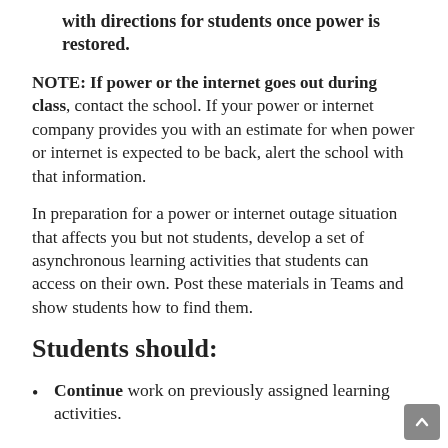with directions for students once power is restored.
NOTE:  If power or the internet goes out during class, contact the school.  If your power or internet company provides you with an estimate for when power or internet is expected to be back, alert the school with that information.
In preparation for a power or internet outage situation that affects you but not students, develop a set of asynchronous learning activities that students can access on their own.  Post these materials in Teams and show students how to find them.
Students should:
Continue work on previously assigned learning activities.